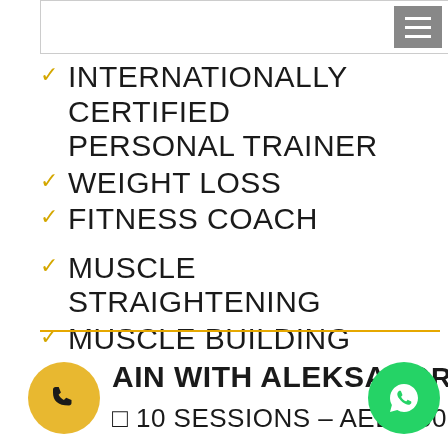[Figure (screenshot): Top navigation bar with white box and grey hamburger menu icon in top right corner]
✓ INTERNATIONALLY CERTIFIED PERSONAL TRAINER
✓ WEIGHT LOSS
✓ FITNESS COACH
✓ MUSCLE STRAIGHTENING
✓ MUSCLE BUILDING EXPERT
TRAIN WITH ALEKSANDE...
□ 10 SESSIONS – AED 3500